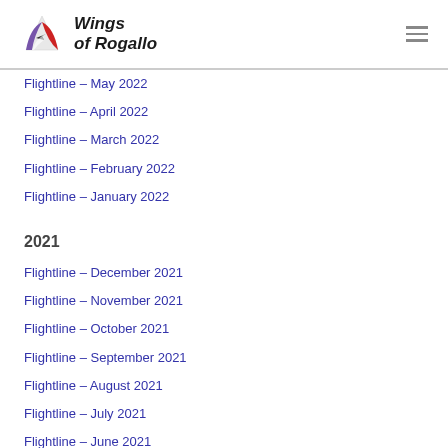Wings of Rogallo
Flightline – May 2022
Flightline – April 2022
Flightline – March 2022
Flightline – February 2022
Flightline – January 2022
2021
Flightline – December 2021
Flightline – November 2021
Flightline – October 2021
Flightline – September 2021
Flightline – August 2021
Flightline – July 2021
Flightline – June 2021